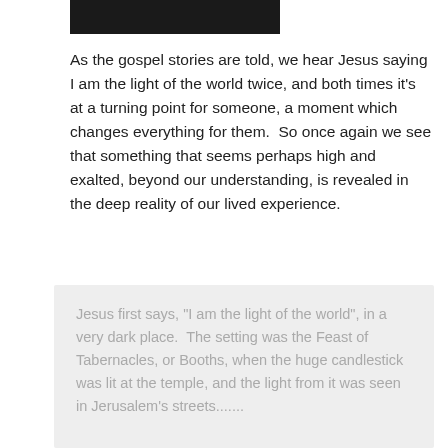[Figure (photo): Partial black image/photo at top of page]
As the gospel stories are told, we hear Jesus saying I am the light of the world twice, and both times it's at a turning point for someone, a moment which changes everything for them.  So once again we see that something that seems perhaps high and exalted, beyond our understanding, is revealed in the deep reality of our lived experience.
Jesus first says, "I am the light of the world", in a very dark place.  The setting was the Feast of Tabernacles, or Booths, when the huge candlestick was lit at the temple, and the light from it was seen in Jerusalem's streets.......